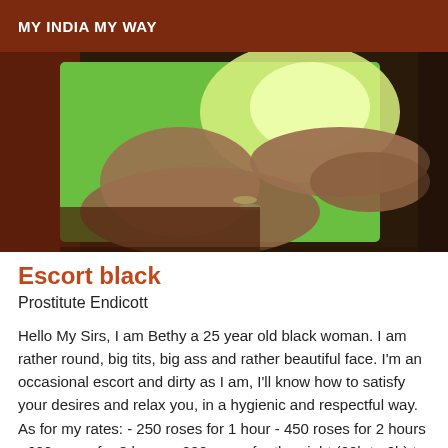MY INDIA MY WAY
[Figure (photo): Close-up photo of a person wearing a green top and sitting down, wearing bracelets on wrist, showing arm and legs against a reddish-brown background with green light.]
Escort black
Prostitute Endicott
Hello My Sirs, I am Bethy a 25 year old black woman. I am rather round, big tits, big ass and rather beautiful face. I'm an occasional escort and dirty as I am, I'll know how to satisfy your desires and relax you, in a hygienic and respectful way. As for my rates: - 250 roses for 1 hour - 450 roses for 2 hours - 600 roses for 3 hours - 900 roses for the night (20h to 6h) t Possibility to